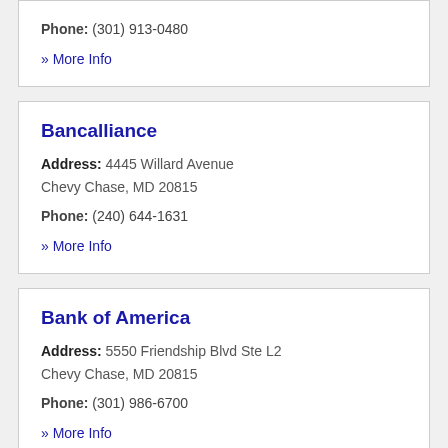Phone: (301) 913-0480
» More Info
Bancalliance
Address: 4445 Willard Avenue Chevy Chase, MD 20815
Phone: (240) 644-1631
» More Info
Bank of America
Address: 5550 Friendship Blvd Ste L2 Chevy Chase, MD 20815
Phone: (301) 986-6700
» More Info